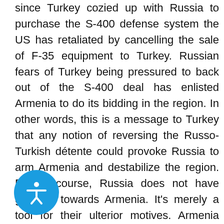since Turkey cozied up with Russia to purchase the S-400 defense system the US has retaliated by cancelling the sale of F-35 equipment to Turkey. Russian fears of Turkey being pressured to back out of the S-400 deal has enlisted Armenia to do its bidding in the region. In other words, this is a message to Turkey that any notion of reversing the Russo-Turkish détente could provoke Russia to arm Armenia and destabilize the region. But of course, Russia does not have goodwill towards Armenia. It's merely a tool for their ulterior motives. Armenia already succumbed to pressure in joining the so-called humanitarian aid to Syria, now they're being propped up for a bigger fight. As for US reaction to the Velvet Revolution, the US knows very well the influence and behind the scene heavy handedness of Putin and Lavrov. Without their blessing, no change would have taken place. For the US, it simply the changing of the guard.